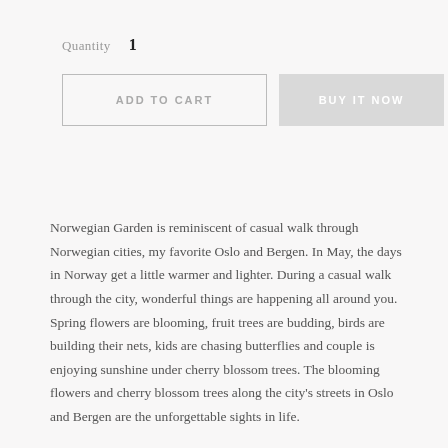Quantity  1
ADD TO CART
BUY IT NOW
Norwegian Garden is reminiscent of casual walk through Norwegian cities, my favorite Oslo and Bergen. In May, the days in Norway get a little warmer and lighter. During a casual walk through the city, wonderful things are happening all around you. Spring flowers are blooming, fruit trees are budding, birds are building their nets, kids are chasing butterflies and couple is enjoying sunshine under cherry blossom trees. The blooming flowers and cherry blossom trees along the city's streets in Oslo and Bergen are the unforgettable sights in life.